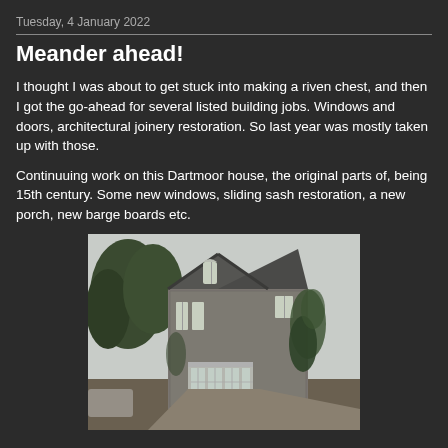Tuesday, 4 January 2022
Meander ahead!
I thought I was about to get stuck into making a riven chest, and then I got the go-ahead for several listed building jobs. Windows and doors, architectural joinery restoration. So last year was mostly taken up with those.
Continuuing work on this Dartmoor house, the original parts of, being 15th century. Some new windows, sliding sash restoration, a new porch, new barge boards etc.
[Figure (photo): Photograph of a stone Dartmoor house with gothic-style windows, ivy growing on the walls, surrounded by trees, and a gravel driveway. The house has decorative barge boards and a conservatory extension at the front.]